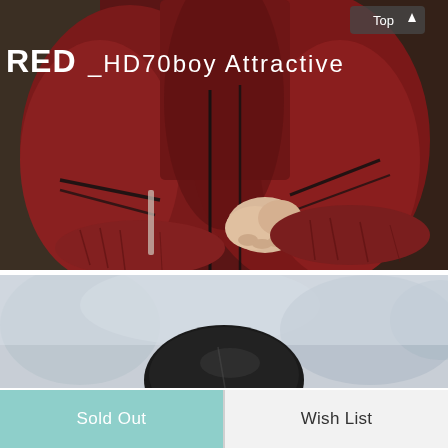[Figure (photo): Close-up photo of a doll or figure dressed in a dark red/burgundy outfit with black ribbon ties, hands clasped together. Title 'RED_HD70boy Attractive' overlaid in white text at top left. A 'Top' button with up arrow at top right.]
[Figure (photo): Photo of a doll or figure with dark hair seen from above/behind, with a blurred light-toned background of trees or bushes.]
Sold Out
Wish List